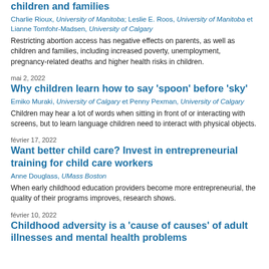children and families
Charlie Rioux, University of Manitoba; Leslie E. Roos, University of Manitoba et Lianne Tomfohr-Madsen, University of Calgary
Restricting abortion access has negative effects on parents, as well as children and families, including increased poverty, unemployment, pregnancy-related deaths and higher health risks in children.
mai 2, 2022
Why children learn how to say ‘spoon’ before ‘sky’
Emiko Muraki, University of Calgary et Penny Pexman, University of Calgary
Children may hear a lot of words when sitting in front of or interacting with screens, but to learn language children need to interact with physical objects.
février 17, 2022
Want better child care? Invest in entrepreneurial training for child care workers
Anne Douglass, UMass Boston
When early childhood education providers become more entrepreneurial, the quality of their programs improves, research shows.
février 10, 2022
Childhood adversity is a ‘cause of causes’ of adult illnesses and mental health problems